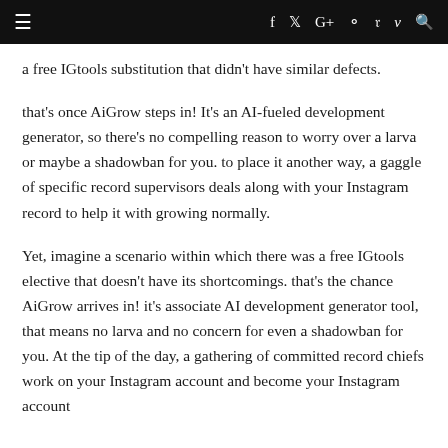≡  f  t  G+  ⊙  p  v  🔍
a free IGtools substitution that didn't have similar defects.
that's once AiGrow steps in! It's an AI-fueled development generator, so there's no compelling reason to worry over a larva or maybe a shadowban for you. to place it another way, a gaggle of specific record supervisors deals along with your Instagram record to help it with growing normally.
Yet, imagine a scenario within which there was a free IGtools elective that doesn't have its shortcomings. that's the chance AiGrow arrives in! it's associate AI development generator tool, that means no larva and no concern for even a shadowban for you. At the tip of the day, a gathering of committed record chiefs work on your Instagram account and become your Instagram account